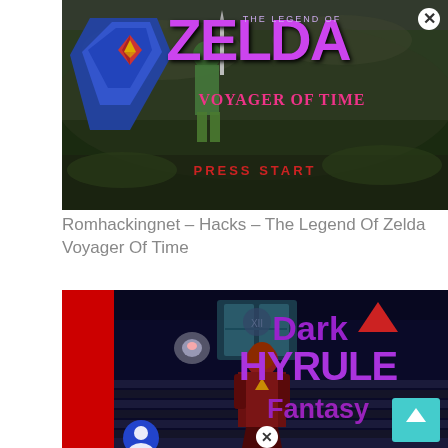[Figure (screenshot): Screenshot of The Legend of Zelda: Voyager of Time ROM hack title screen showing Link holding the Master Sword and Hylian Shield, with purple ZELDA text and 'PRESS START' displayed on a green background]
Romhackingnet – Hacks – The Legend Of Zelda Voyager Of Time
[Figure (screenshot): Screenshot of Dark Hyrule Fantasy ROM hack showing a dark dungeon scene with a character on stairs, purple 'Dark Hyrule Fantasy' text with red triangle, red bar on left side, and scroll-up button in corner]